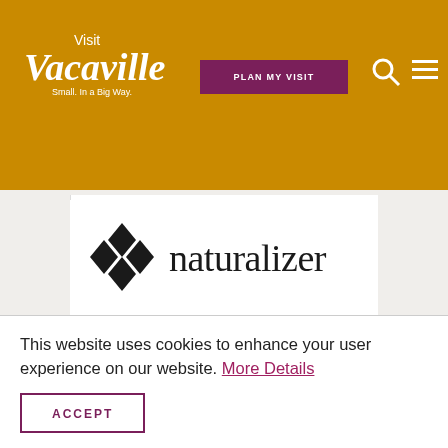Visit Vacaville – Small. In a Big Way. | PLAN MY VISIT
[Figure (logo): Naturalizer brand logo with four-diamond icon and wordmark 'naturalizer' in dark serif font]
This website uses cookies to enhance your user experience on our website. More Details
ACCEPT